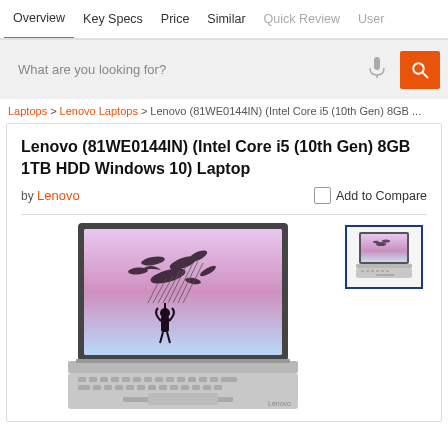Overview | Key Specs | Price | Similar | Quick Review | User
What are you looking for?
Laptops > Lenovo Laptops > Lenovo (81WE0144IN) (Intel Core i5 (10th Gen) 8GB ...
Lenovo (81WE0144IN) (Intel Core i5 (10th Gen) 8GB 1TB HDD Windows 10) Laptop
by Lenovo
Add to Compare
[Figure (photo): Lenovo IdeaPad laptop open showing wallpaper with person and birds, silver color, with keyboard visible]